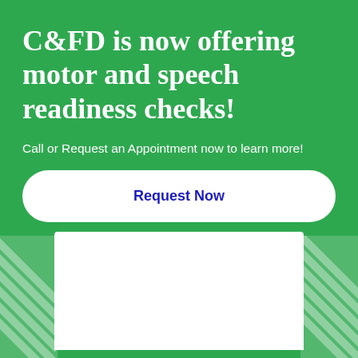C&FD is now offering motor and speech readiness checks!
Call or Request an Appointment now to learn more!
Request Now
p: 704.541.9080
f: 704.542.0699